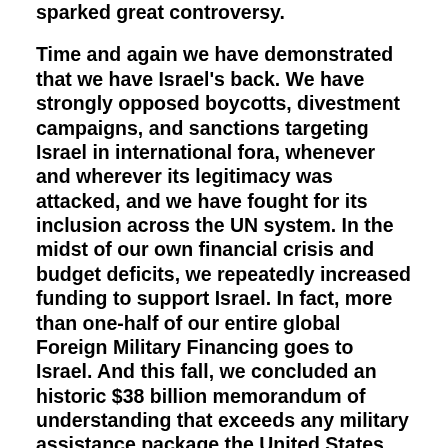sparked great controversy.
Time and again we have demonstrated that we have Israel's back. We have strongly opposed boycotts, divestment campaigns, and sanctions targeting Israel in international fora, whenever and wherever its legitimacy was attacked, and we have fought for its inclusion across the UN system. In the midst of our own financial crisis and budget deficits, we repeatedly increased funding to support Israel. In fact, more than one-half of our entire global Foreign Military Financing goes to Israel. And this fall, we concluded an historic $38 billion memorandum of understanding that exceeds any military assistance package the United States has provided to any country, at any time, and that will invest in cutting-edge missile defense and sustain Israel's qualitative military edge for years to